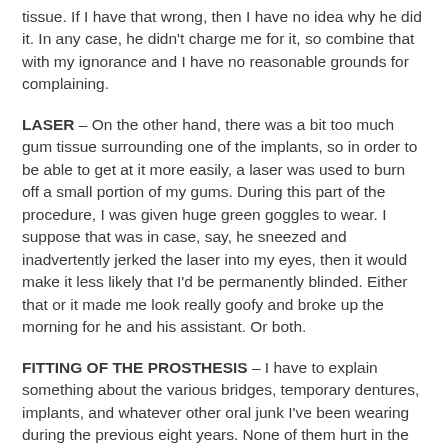tissue. If I have that wrong, then I have no idea why he did it. In any case, he didn't charge me for it, so combine that with my ignorance and I have no reasonable grounds for complaining.
LASER – On the other hand, there was a bit too much gum tissue surrounding one of the implants, so in order to be able to get at it more easily, a laser was used to burn off a small portion of my gums. During this part of the procedure, I was given huge green goggles to wear. I suppose that was in case, say, he sneezed and inadvertently jerked the laser into my eyes, then it would make it less likely that I'd be permanently blinded. Either that or it made me look really goofy and broke up the morning for he and his assistant. Or both.
FITTING OF THE PROSTHESIS – I have to explain something about the various bridges, temporary dentures, implants, and whatever other oral junk I've been wearing during the previous eight years. None of them hurt in the least. This new denture, however, when placed into my mouth for the first time, was very painful. That surprised hell